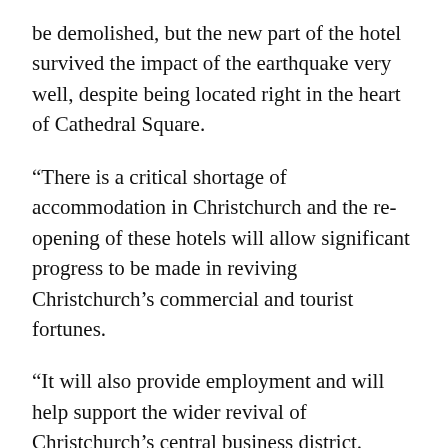be demolished, but the new part of the hotel survived the impact of the earthquake very well, despite being located right in the heart of Cathedral Square.
“There is a critical shortage of accommodation in Christchurch and the re-opening of these hotels will allow significant progress to be made in reviving Christchurch’s commercial and tourist fortunes.
“It will also provide employment and will help support the wider revival of Christchurch’s central business district.
“There are already encouraging signs, with permanent and temporary shopping precincts opening and more businesses returning to the city centre, but the city really needs the confidence boost of major international hotels